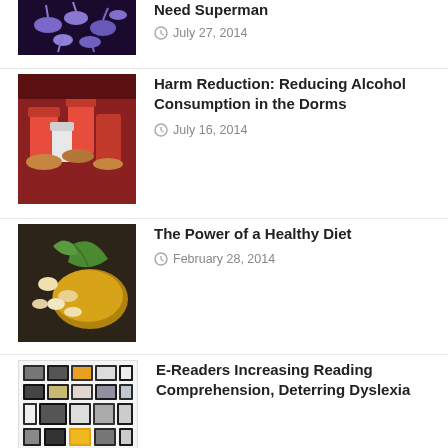[Figure (photo): Purple/blue bacteria or microorganism cluster on dark background, partially cropped at top]
Need Superman
July 27, 2014
[Figure (photo): People holding red plastic cups, party/social setting]
Harm Reduction: Reducing Alcohol Consumption in the Dorms
July 16, 2014
[Figure (photo): Pills, supplements, and green leaves on dark surface — healthy diet concept]
The Power of a Healthy Diet
February 28, 2014
[Figure (photo): Collection of e-readers and tablets arranged in a grid]
E-Readers Increasing Reading Comprehension, Deterring Dyslexia
February 25, 2014
[Figure (photo): Chocolate — cocoa pods and cocoa powder on dark surface]
Why Does Chocolate Make Us